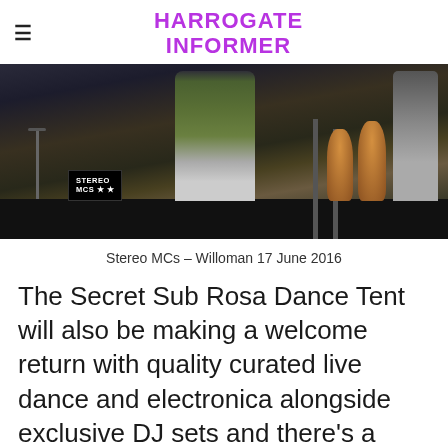HARROGATE INFORMER
[Figure (photo): Concert/festival stage photo showing performers. A 'STEREO MCs' banner is visible on the left, large conga drums on the right, and a person in a green jacket in the center foreground.]
Stereo MCs – Willoman 17 June 2016
The Secret Sub Rosa Dance Tent will also be making a welcome return with quality curated live dance and electronica alongside exclusive DJ sets and there's a new and extended children and family area.